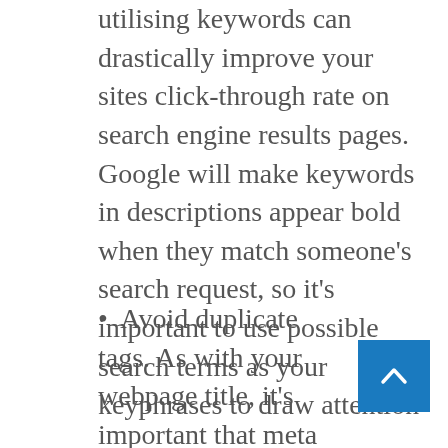utilising keywords can drastically improve your sites click-through rate on search engine results pages. Google will make keywords in descriptions appear bold when they match someone's search request, so it's important to use possible search terms as your keyphrases to draw attention
Avoid duplicate tags. As with your webpage title, it's important that meta descriptions on each of your website pages be different from each other. Otherwise, you'll end up with search engine results pages that look
[Figure (other): Blue square button with a white upward-pointing chevron arrow (back to top button)]